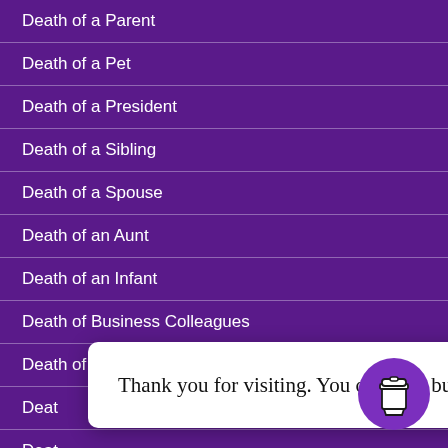Death of a Parent
Death of a Pet
Death of a President
Death of a Sibling
Death of a Spouse
Death of an Aunt
Death of an Infant
Death of Business Colleagues
Death of Business Leader
Deat[h of ...]
Deat[h of ...]
Deat[h of ...]
Death of the Famous
Thank you for visiting. You can now buy me a coffee!